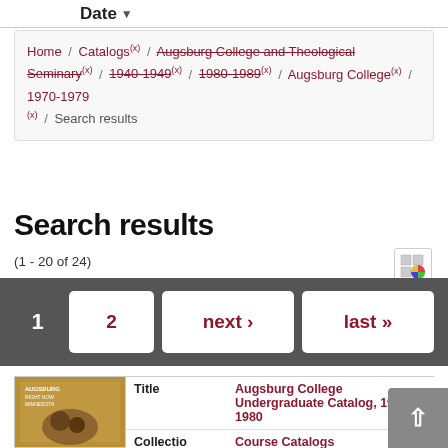Date
Home / Catalogs (x) / Augsburg College and Theological Seminary (x) / 1940-1949 (x) / 1980-1989 (x) / Augsburg College (x) / 1970-1979 (x) / Search results
Search results
(1 - 20 of 24)
1  2  next ›  last »
| Field | Value |
| --- | --- |
| Title | Augsburg College Undergraduate Catalog, 1979-1980 |
| Collection | Course Catalogs |